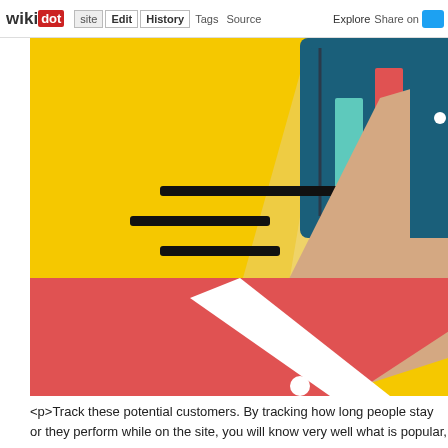wikidot | Edit | History | Tags | Source | Explore | Share on Twitter
[Figure (illustration): Flat design illustration on yellow background showing a hand pointing at or holding a tablet/phone displaying a bar chart with teal, red, and yellow bars. Three horizontal black lines (like a list or menu icon) appear on the left side of the illustration. A red sleeve/arm is visible in the lower left, and a large hand/arm in skin tone color extends from the right side.]
<p>Track these potential customers. By tracking how long people stay on they perform while on the site, you will know very well what is popular, a